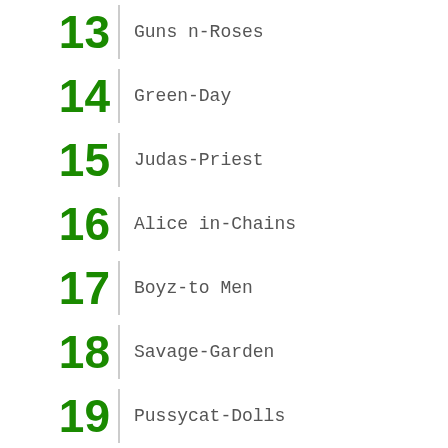13 Guns n-Roses
14 Green-Day
15 Judas-Priest
16 Alice in-Chains
17 Boyz-to Men
18 Savage-Garden
19 Pussycat-Dolls
20 ...